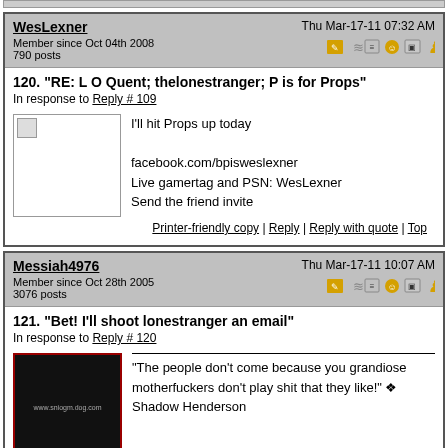WesLexner — Thu Mar-17-11 07:32 AM — Member since Oct 04th 2008 — 790 posts
120. "RE: L O Quent; thelonestranger; P is for Props"
In response to Reply # 109
I'll hit Props up today

facebook.com/bpisweslexner
Live gamertag and PSN: WesLexner
Send the friend invite
Printer-friendly copy | Reply | Reply with quote | Top
Messiah4976 — Thu Mar-17-11 10:07 AM — Member since Oct 28th 2005 — 3076 posts
121. "Bet! I'll shoot lonestranger an email"
In response to Reply # 120
"The people don't come because you grandiose motherfuckers don't play shit that they like!" ❖ Shadow Henderson